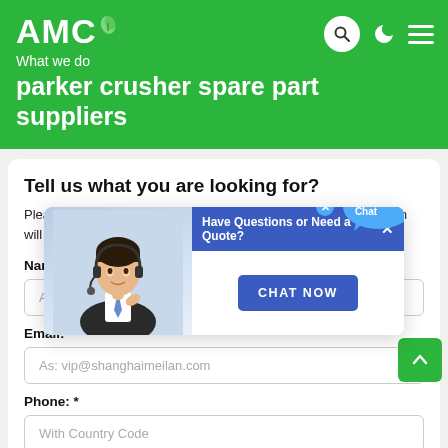AMC — What we do
parker crusher spare part suppliers
Tell us what you are looking for?
Please complete and submit the following form and our sales team will contact you shortly with our best prices.
Name: *
As: Tom
Email: *
As: vip@shanghaimeilan.com
Phone: *
With Country Code
[Figure (screenshot): Popup overlay with blue bar reading 'Have Questions or Need a Quote?' with a close X button, an image of a customer service representative, and a blue CHAT NOW button. A Live Chat speech bubble appears in the top right corner.]